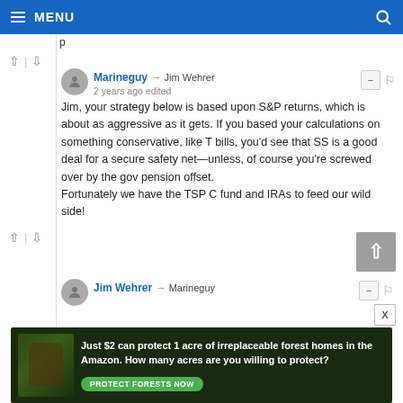MENU
Jim, your strategy below is based upon S&P returns, which is about as aggressive as it gets. If you based your calculations on something conservative, like T bills, you'd see that SS is a good deal for a secure safety net—unless, of course you're screwed over by the gov pension offset.
Fortunately we have the TSP C fund and IRAs to feed our wild side!
Jim Wehrer → Marineguy